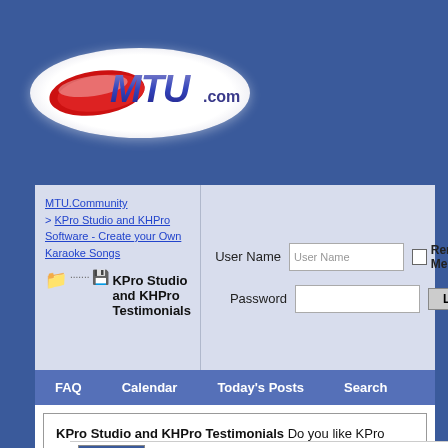[Figure (logo): MTU.com logo in white oval with red swoosh on blue background]
MTU.Community > KPro Studio and KHPro Software - Create your Own Karaoke Songs
KPro Studio and KHPro Testimonials
User Name | Password | Remember Me? (auto | Log in
FAQ   Calendar   Today's Posts   Search
KPro Studio and KHPro Testimonials Do you like KPro Studio and KHPro?